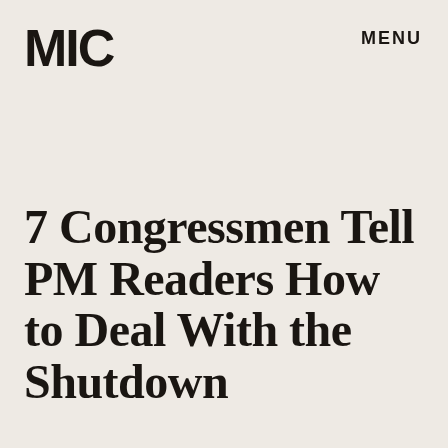MIC
MENU
7 Congressmen Tell PM Readers How to Deal With the Shutdown